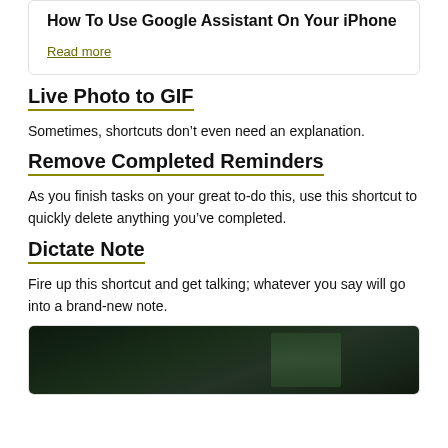How To Use Google Assistant On Your iPhone
Read more
Live Photo to GIF
Sometimes, shortcuts don’t even need an explanation.
Remove Completed Reminders
As you finish tasks on your great to-do this, use this shortcut to quickly delete anything you’ve completed.
Dictate Note
Fire up this shortcut and get talking; whatever you say will go into a brand-new note.
[Figure (photo): Dark greenish photo, possibly of a person or nature scene at low light]